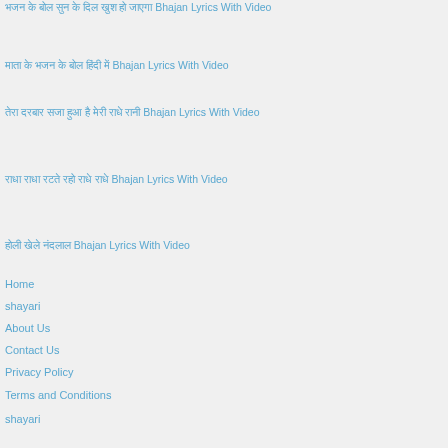भजन के बोल सुन के दिल खुश हो जाएगा Bhajan Lyrics With Video
माता के भजन के बोल हिंदी में Bhajan Lyrics With Video
तेरा दरबार सजा हुआ है मेरी राधे रानी Bhajan Lyrics With Video
राधा राधा रटते रहो राधे राधे Bhajan Lyrics With Video
होली खेले नंदलाल Bhajan Lyrics With Video
Home
shayari
About Us
Contact Us
Privacy Policy
Terms and Conditions
shayari